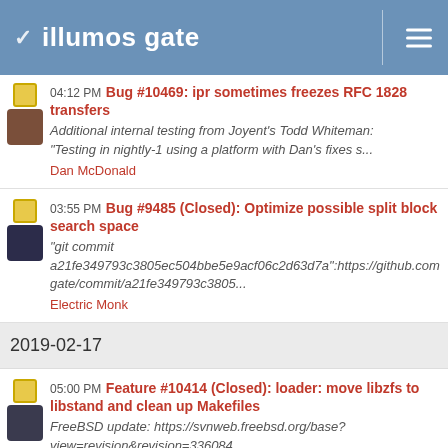illumos gate
04:12 PM Bug #10469: ipr sometimes freezes RFC 1828 transfers
Additional internal testing from Joyent's Todd Whiteman: "Testing in nightly-1 using a platform with Dan's fixes s...
Dan McDonald
03:55 PM Bug #9485 (Closed): Optimize possible split block search space
"git commit a21fe349793c3805ec504bbe5e9acf06c2d63d7a":https://github.com gate/commit/a21fe349793c3805...
Electric Monk
2019-02-17
05:00 PM Feature #10414 (Closed): loader: move libzfs to libstand and clean up Makefiles
FreeBSD update: https://svnweb.freebsd.org/base?view=revision&revision=336084